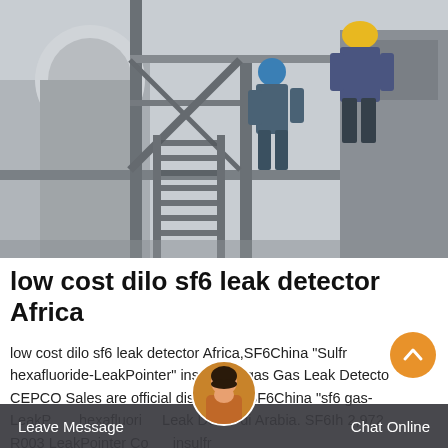[Figure (photo): Two workers in hard hats (one yellow, one blue/teal) on an industrial steel platform/stairway structure, likely a power substation or industrial equipment installation. Gray metal framework visible.]
low cost dilo sf6 leak detector Africa
low cost dilo sf6 leak detector Africa,SF6China "Sulfr hexafluoride-LeakPointer" insulating gas Gas Leak Detector CEPCO Sales are official distributors for SF6China "sf6 gas-LeakPointer sulfrhexafluoride Leak Detector" di Arabia. SF6Ih 2,972 R003 LeakPointer Containerinsulfr